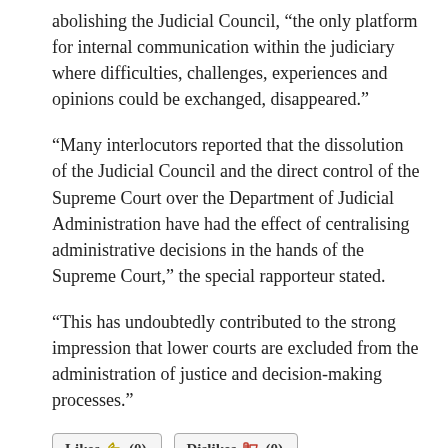abolishing the Judicial Council, “the only platform for internal communication within the judiciary where difficulties, challenges, experiences and opinions could be exchanged, disappeared.”
“Many interlocutors reported that the dissolution of the Judicial Council and the direct control of the Supreme Court over the Department of Judicial Administration have had the effect of centralising administrative decisions in the hands of the Supreme Court,” the special rapporteur stated.
“This has undoubtedly contributed to the strong impression that lower courts are excluded from the administration of justice and decision-making processes.”
[Figure (other): Two buttons labeled 'Likes (0)' and 'Dislikes (0)' with thumbs up and thumbs down icons]